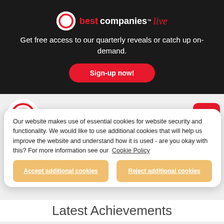[Figure (logo): Best Companies Live logo — red circle with b, text 'best companies live' in red, white, and italic red]
Get free access to our quarterly reveals or catch up on-demand.
Sign-up now!
[Figure (logo): Best Companies logo — red ring circle, text 'best companies' in red and grey]
Our website makes use of essential cookies for website security and functionality. We would like to use additional cookies that will help us improve the website and understand how it is used - are you okay with this? For more information see our Cookie Policy
Accept additional cookies
Reject additional cookies
Latest Achievements